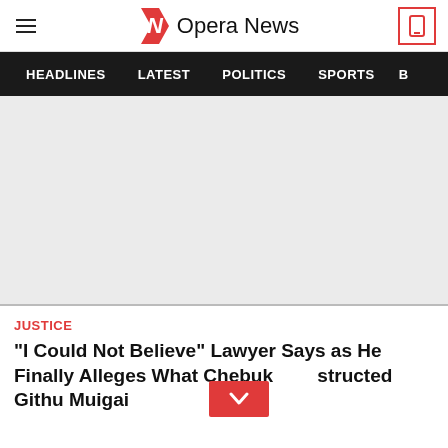Opera News
HEADLINES | LATEST | POLITICS | SPORTS | B
[Figure (photo): Large grey placeholder image area for article hero image]
JUSTICE
"I Could Not Believe" Lawyer Says as He Finally Alleges What Chebuk...structed Githu Muigai